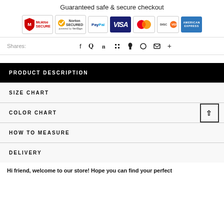Guaranteed safe & secure checkout
[Figure (infographic): Row of payment and security badges: McAfee SECURE, Norton SECURED powered by VeriSign, PayPal, VISA, Mastercard, DISCOVER, AMERICAN EXPRESS]
Shares:
[Figure (infographic): Social sharing icons: Facebook, Twitter, Pinterest, Google+, Fancy, Wanelo, Email, More (+)]
PRODUCT DESCRIPTION
SIZE CHART
COLOR CHART
HOW TO MEASURE
DELIVERY
Hi friend, welcome to our store! Hope you can find your perfect